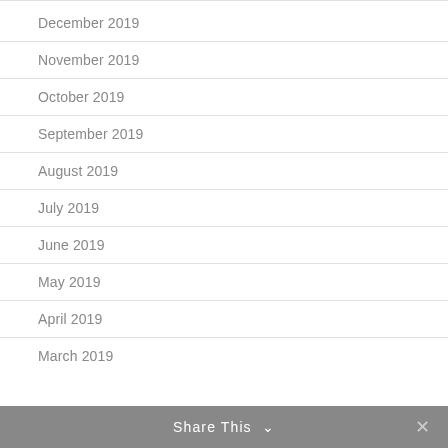December 2019
November 2019
October 2019
September 2019
August 2019
July 2019
June 2019
May 2019
April 2019
March 2019
Share This ∨  ✕